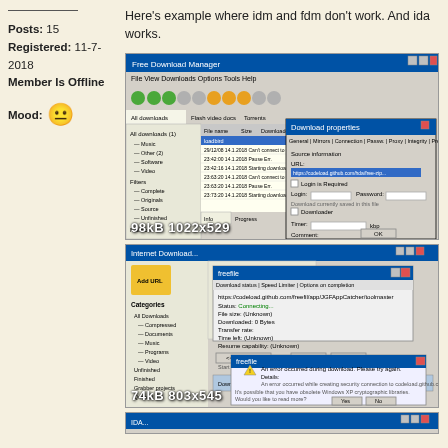Posts: 15
Registered: 11-7-2018
Member Is Offline
Mood:
Here's example where idm and fdm don't work. And ida works.
[Figure (screenshot): Screenshot of Free Download Manager (FDM) showing a download attempt with 'Can't connect to the server' and 'Pause Err.' errors, with a Download Properties dialog open. Image metadata: 98kB 1022x529]
[Figure (screenshot): Screenshot of Internet Download Manager (IDM) showing a download status dialog with Status: Connecting..., File size: Unknown, Downloaded: 0 Bytes, Transfer rate: blank, Time left: Unknown, Resume capability: Unknown, and a FreeFile error dialog reading 'An error occurred during download. Please try again. Details: An error occurred while creating security connection to codeload.github.com. It's possible that you have obsolete Windows XP cryptographic libraries. Would you like to read more?' Image metadata: 74kB 803x545]
[Figure (screenshot): Partial screenshot at bottom (third download manager, IDA) cut off at page bottom.]